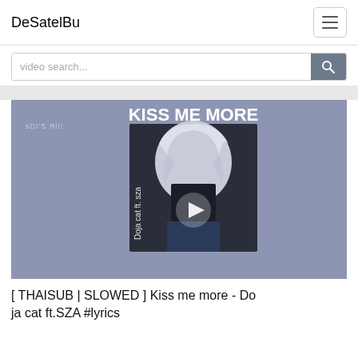DeSatelBu
video search...
[Figure (screenshot): Video thumbnail showing an anime character with white hair and the text 'KISS ME MORE' and 'Doja cat ft. sza' with a play button overlay. Background is a muted purple-blue color.]
[ THAISUB | SLOWED ] Kiss me more - Doja cat ft.SZA #lyrics